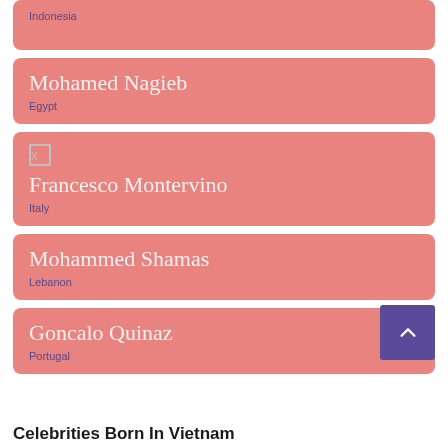Indonesia
Mohamed Nagieb
Egypt
Francesco Montervino
Italy
Mohammed Shamas
Lebanon
Goncalo Quinaz
Portugal
Celebrities Born In Vietnam